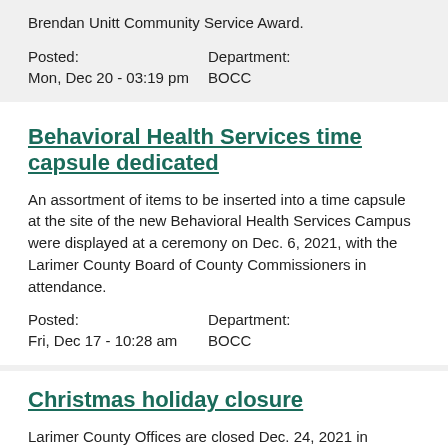Brendan Unitt Community Service Award.
Posted:
Mon, Dec 20 - 03:19 pm
Department:
BOCC
Behavioral Health Services time capsule dedicated
An assortment of items to be inserted into a time capsule at the site of the new Behavioral Health Services Campus were displayed at a ceremony on Dec. 6, 2021, with the Larimer County Board of County Commissioners in attendance.
Posted:
Fri, Dec 17 - 10:28 am
Department:
BOCC
Christmas holiday closure
Larimer County Offices are closed Dec. 24, 2021 in